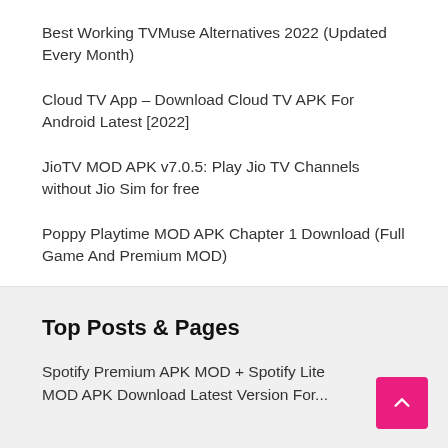Best Working TVMuse Alternatives 2022 (Updated Every Month)
Cloud TV App – Download Cloud TV APK For Android Latest [2022]
JioTV MOD APK v7.0.5: Play Jio TV Channels without Jio Sim for free
Poppy Playtime MOD APK Chapter 1 Download (Full Game And Premium MOD)
Top Posts & Pages
Spotify Premium APK MOD + Spotify Lite MOD APK Download Latest Version For...